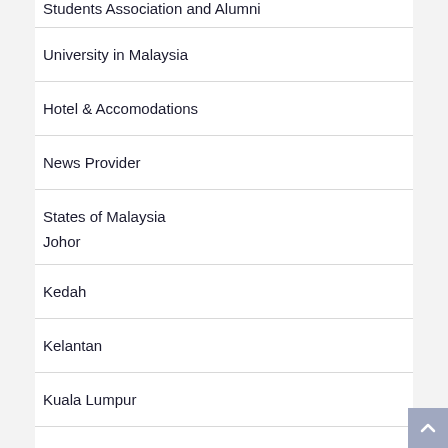Students Association and Alumni
University in Malaysia
Hotel & Accomodations
News Provider
States of Malaysia
Johor
Kedah
Kelantan
Kuala Lumpur